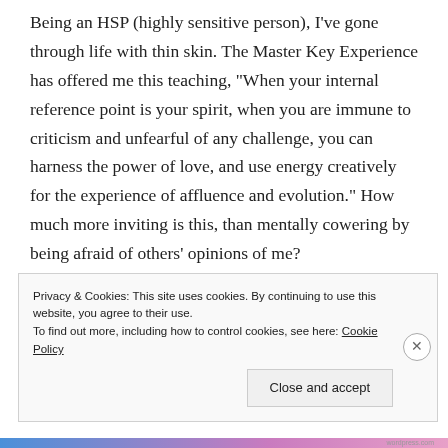Being an HSP (highly sensitive person), I've gone through life with thin skin. The Master Key Experience has offered me this teaching, “When your internal reference point is your spirit, when you are immune to criticism and unfearful of any challenge, you can harness the power of love, and use energy creatively for the experience of affluence and evolution.” How much more inviting is this, than mentally cowering by being afraid of others’ opinions of me?
So now I’m on to the acceptance practice provided in
Privacy & Cookies: This site uses cookies. By continuing to use this website, you agree to their use.
To find out more, including how to control cookies, see here: Cookie Policy
[Close and accept button]